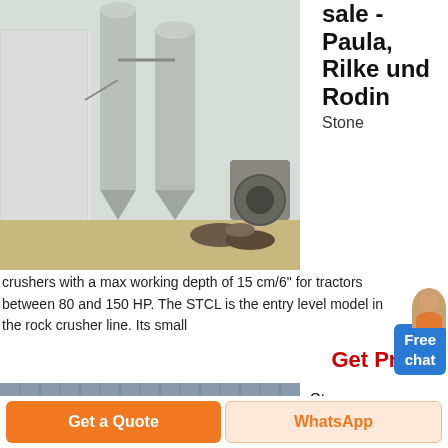[Figure (photo): Industrial stone crusher / concrete batching plant facility outdoors with silos and equipment]
sale - Paula, Rilke und Rodin
Stone crushers with a max working depth of 15 cm/6" for tractors between 80 and 150 HP. The STCL is the entry level model in the rock crusher line. Its small
Get Price
[Figure (photo): Stone crusher machines - industrial building facade with machinery in foreground]
Stone Crusher Machines